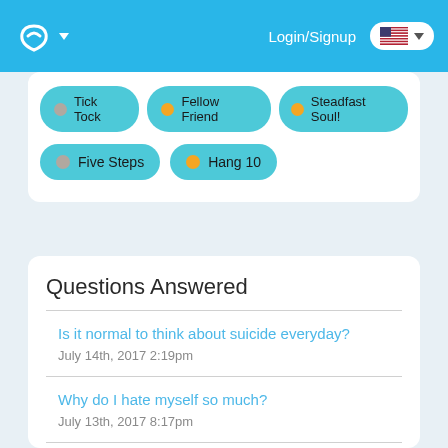Login/Signup
[Figure (screenshot): Teal badge buttons: Tick Tock, Fellow Friend, Steadfast Soul!, Five Steps, Hang 10]
Questions Answered
Is it normal to think about suicide everyday? — July 14th, 2017 2:19pm
Why do I hate myself so much? — July 13th, 2017 8:17pm
I think I have depression and I want to tell my parents but my brother recently got diagnosed so I feel like they would think that I'm just…